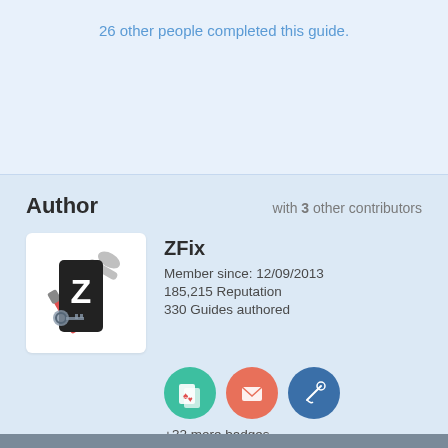26 other people completed this guide.
Author
with 3 other contributors
[Figure (illustration): ZFix author avatar: smartphone with Z logo overlaid on tools (wrench and screwdriver)]
ZFix
Member since: 12/09/2013
185,215 Reputation
330 Guides authored
[Figure (illustration): Three circular badge icons: green (playing cards), salmon/orange (envelope), blue (needle/thread)]
+32 more badges